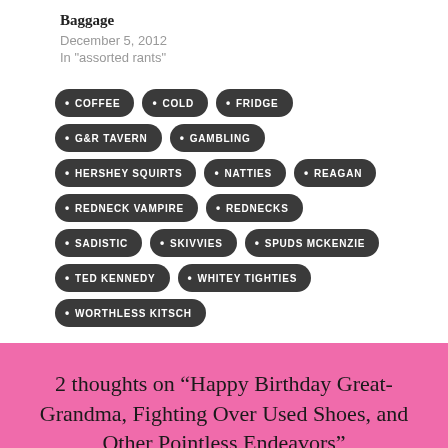Baggage
December 5, 2012
In "assorted rants"
COFFEE
COLD
FRIDGE
G&R TAVERN
GAMBLING
HERSHEY SQUIRTS
NATTIES
REAGAN
REDNECK VAMPIRE
REDNECKS
SADISTIC
SKIVVIES
SPUDS MCKENZIE
TED KENNEDY
WHITEY TIGHTIES
WORTHLESS KITSCH
2 thoughts on “Happy Birthday Great-Grandma, Fighting Over Used Shoes, and Other Pointless Endeavors”